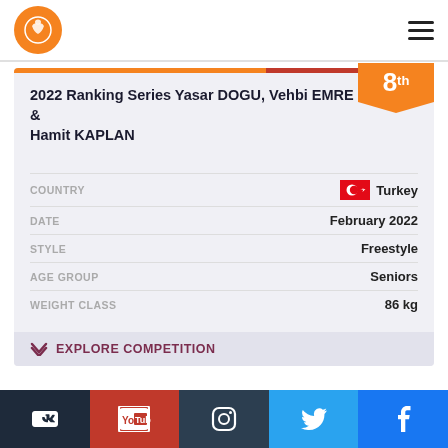United World Wrestling logo and navigation
2022 Ranking Series Yasar DOGU, Vehbi EMRE & Hamit KAPLAN
8th
COUNTRY: Turkey
DATE: February 2022
STYLE: Freestyle
AGE GROUP: Seniors
WEIGHT CLASS: 86 kg
EXPLORE COMPETITION
VK | YouTube | Instagram | Twitter | Facebook